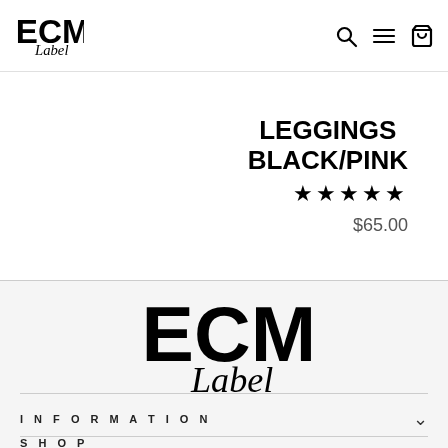ECM Label logo, search, menu, cart icons
LEGGINGS BLACK/PINK
★★★★★
$65.00
[Figure (logo): ECM Label large black logo]
INFORMATION
SHOP